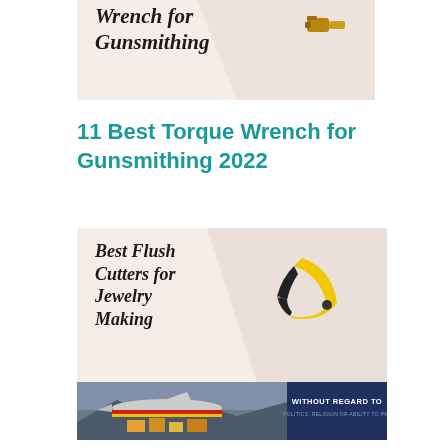[Figure (illustration): Product card image showing 'Wrench for Gunsmithing' text on a light pink/beige diagonal background with a small wrench/socket tool image at upper right]
11 Best Torque Wrench for Gunsmithing 2022
[Figure (illustration): Product card image showing 'Best Flush Cutters for Jewelry Making' text on a light pink/beige diagonal background with yellow-handled flush cutters/pliers visible at right]
[Figure (photo): Advertisement banner showing an airplane being loaded with cargo, overlaid with dark blue box reading 'WITHOUT REGARD TO POLITICS, RELIGION OR ABILITY TO PAY']